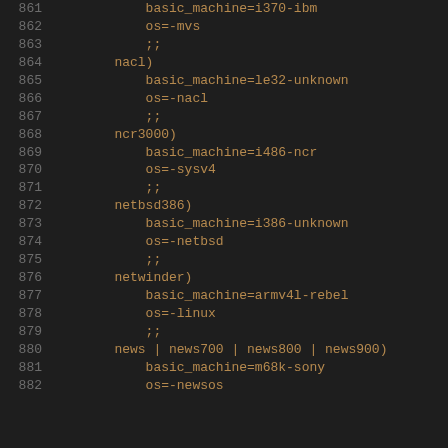Code listing lines 861-882 of a shell/config script showing case statement entries for nacl, ncr3000, netbsd386, netwinder, and news targets